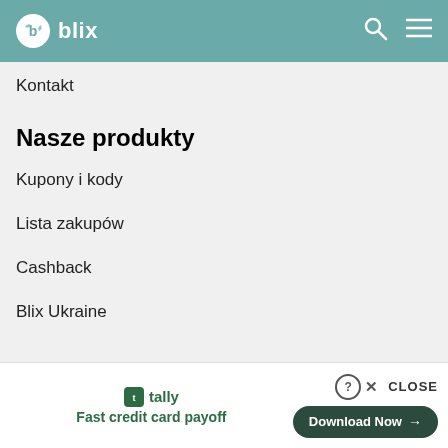blix
Kontakt
Nasze produkty
Kupony i kody
Lista zakupów
Cashback
Blix Ukraine
[Figure (screenshot): Tally app advertisement banner with 'Fast credit card payoff' tagline and 'Download Now' button]
CLOSE